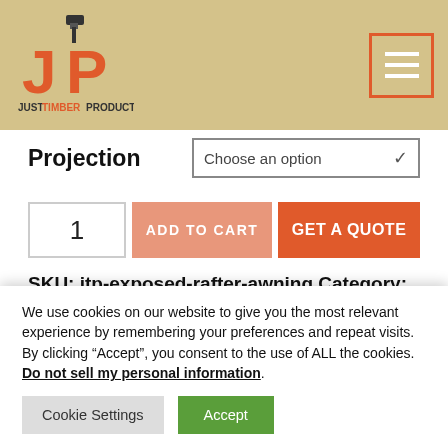[Figure (logo): Just Timber Products logo with orange JP monogram and hammer icon, tan background header with hamburger menu button]
Projection
Choose an option
1
ADD TO CART
GET A QUOTE
SKU: jtp-exposed-rafter-awning Category: Window Awnings
We use cookies on our website to give you the most relevant experience by remembering your preferences and repeat visits. By clicking “Accept”, you consent to the use of ALL the cookies.
Do not sell my personal information.
Cookie Settings
Accept